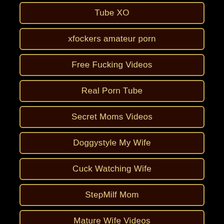Tube XO
xfockers amateur porn
Free Fucking Videos
Real Porn Tube
Secret Moms Videos
Doggystyle My Wife
Cuck Watching Wife
StepMilf Mom
Mature Wife Videos
Cuckold Tube